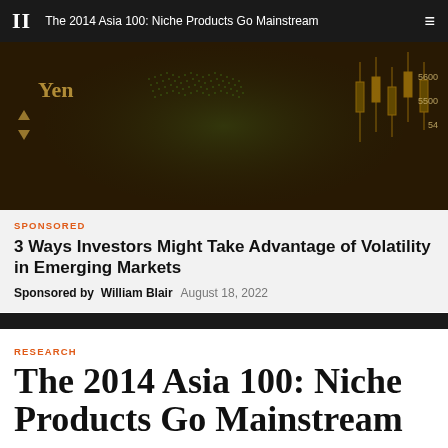II  The 2014 Asia 100: Niche Products Go Mainstream
[Figure (photo): Financial trading screen showing Yen and other currency/market data with green glowing digital world map overlay on dark background]
SPONSORED
3 Ways Investors Might Take Advantage of Volatility in Emerging Markets
Sponsored by  William Blair   August 18, 2022
RESEARCH
The 2014 Asia 100: Niche Products Go Mainstream
International asset managers in Asia are looking for distinctive strategies to drive growth in more challenging